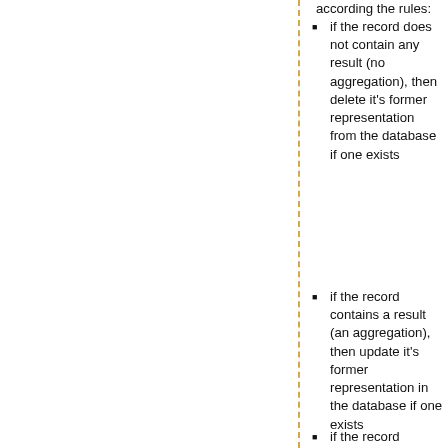if the record does not contain any result (no aggregation), then delete it's former representation from the database if one exists
if the record contains a result (an aggregation), then update it's former representation in the database if one exists
if the record